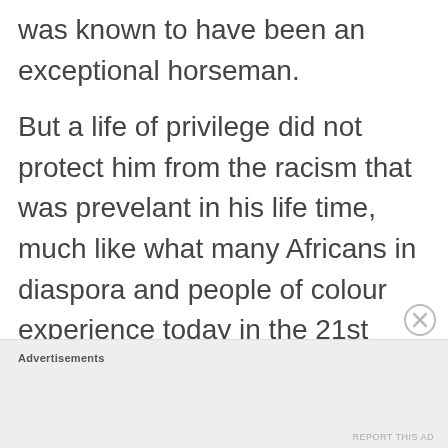was known to have been an exceptional horseman.
But a life of privilege did not protect him from the racism that was prevelant in his life time, much like what many Africans in diaspora and people of colour experience today in the 21st century. In 1784, at age 22, Alexandre moved to an apartment on Rue Etienne, near the Louvre Palace in Paris, socializing at venues
Advertisements